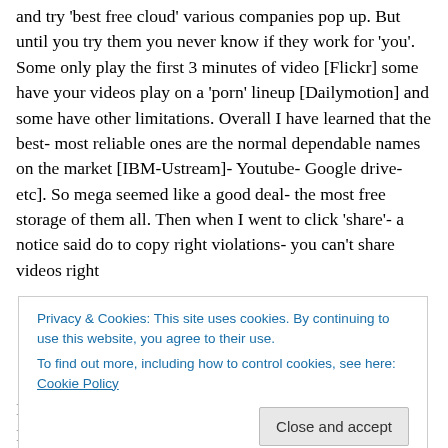and try 'best free cloud' various companies pop up. But until you try them you never know if they work for 'you'. Some only play the first 3 minutes of video [Flickr] some have your videos play on a 'porn' lineup [Dailymotion] and some have other limitations. Overall I have learned that the best- most reliable ones are the normal dependable names on the market [IBM-Ustream]- Youtube- Google drive- etc]. So mega seemed like a good deal- the most free storage of them all. Then when I went to click 'share'- a notice said do to copy right violations- you can't share videos right
Privacy & Cookies: This site uses cookies. By continuing to use this website, you agree to their use.
To find out more, including how to control cookies, see here: Cookie Policy
Close and accept
I just tried to copy the link above- no copy right violation- I